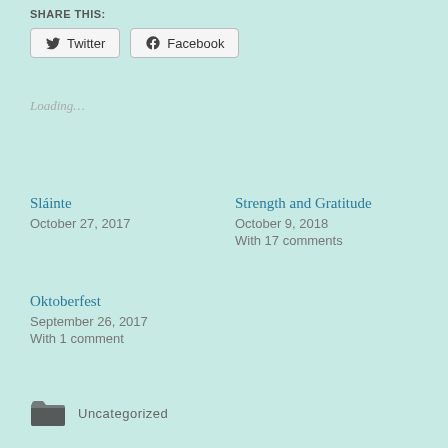SHARE THIS:
Twitter  Facebook
Loading...
Sláinte
October 27, 2017
Strength and Gratitude
October 9, 2018
With 17 comments
Oktoberfest
September 26, 2017
With 1 comment
Uncategorized